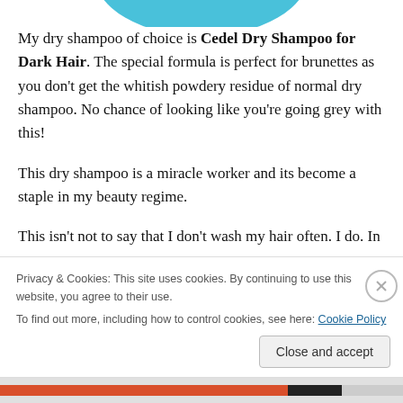[Figure (illustration): Partial teal/blue circular logo or product image cropped at the top of the page]
My dry shampoo of choice is Cedel Dry Shampoo for Dark Hair. The special formula is perfect for brunettes as you don't get the whitish powdery residue of normal dry shampoo. No chance of looking like you're going grey with this!
This dry shampoo is a miracle worker and its become a staple in my beauty regime.
This isn't not to say that I don't wash my hair often. I do. In
Privacy & Cookies: This site uses cookies. By continuing to use this website, you agree to their use.
To find out more, including how to control cookies, see here: Cookie Policy
Close and accept